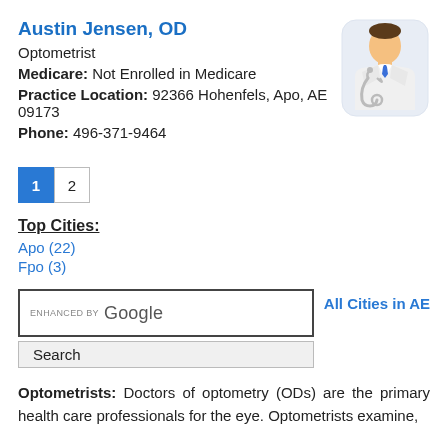Austin Jensen, OD
Optometrist
Medicare: Not Enrolled in Medicare
Practice Location: 92366 Hohenfels, Apo, AE 09173
Phone: 496-371-9464
[Figure (illustration): Illustration of a doctor/physician in white coat with stethoscope and blue tie]
1  2
Top Cities:
Apo (22)
Fpo (3)
[Figure (other): Google search box with 'ENHANCED BY Google' label and Search button, plus All Cities in AE link]
Optometrists: Doctors of optometry (ODs) are the primary health care professionals for the eye. Optometrists examine,